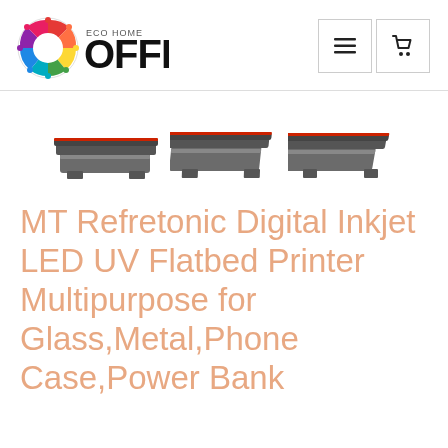[Figure (logo): Eco Home Office logo with colorful circular icon and bold OFFICE text]
[Figure (photo): Three views of MT Refretonic Digital Inkjet LED UV Flatbed Printer shown from different angles]
MT Refretonic Digital Inkjet LED UV Flatbed Printer Multipurpose for Glass,Metal,Phone Case,Power Bank